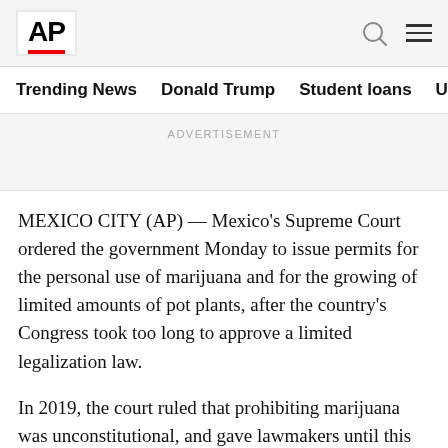AP
Trending News   Donald Trump   Student loans   U.S. Open Tenn
ADVERTISEMENT
MEXICO CITY (AP) — Mexico's Supreme Court ordered the government Monday to issue permits for the personal use of marijuana and for the growing of limited amounts of pot plants, after the country's Congress took too long to approve a limited legalization law.
In 2019, the court ruled that prohibiting marijuana was unconstitutional, and gave lawmakers until this past April 30 to pass a law. In March, the lower house